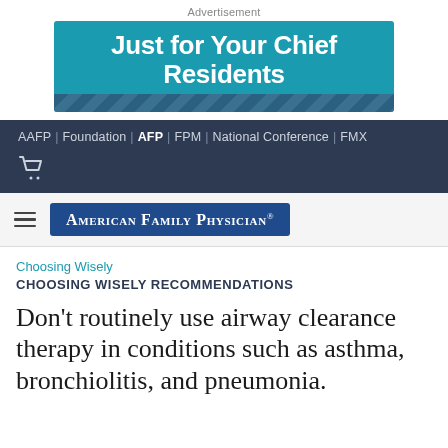Advertisement
[Figure (other): Just for Your Chief Residents banner advertisement with teal background and decorative geometric stripe]
AAFP | Foundation | AFP | FPM | National Conference | FMX
[Figure (logo): American Family Physician journal logo with hamburger menu icon]
Choosing Wisely
CHOOSING WISELY RECOMMENDATIONS
Don’t routinely use airway clearance therapy in conditions such as asthma, bronchiolitis, and pneumonia.